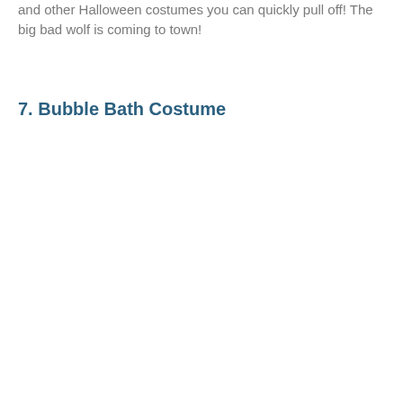and other Halloween costumes you can quickly pull off! The big bad wolf is coming to town!
7. Bubble Bath Costume